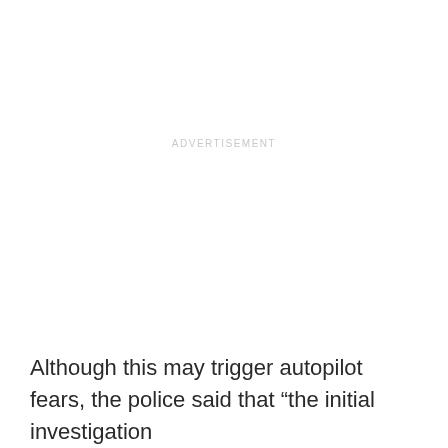ADVERTISEMENT
Although this may trigger autopilot fears, the police said that “the initial investigation